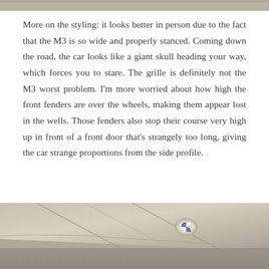[Figure (photo): Top portion of a car photo, partially cropped at the top of the page]
More on the styling: it looks better in person due to the fact that the M3 is so wide and properly stanced. Coming down the road, the car looks like a giant skull heading your way, which forces you to stare. The grille is definitely not the M3 worst problem. I'm more worried about how high the front fenders are over the wheels, making them appear lost in the wells. Those fenders also stop their course very high up in front of a front door that's strangely too long, giving the car strange proportions from the side profile.
[Figure (photo): Close-up photo of the hood and front section of a BMW M3, showing the body lines, hood surface, and BMW logo emblem]